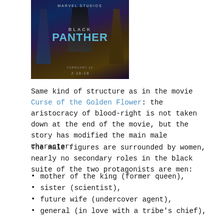[Figure (photo): Black Panther movie poster with Marvel logo, characters, and stylized title text in blue against dark background]
Same kind of structure as in the movie Curse of the Golden Flower: the aristocracy of blood-right is not taken down at the end of the movie, but the story has modified the main male character.
The male figures are surrounded by women, nearly no secondary roles in the black suite of the two protagonists are men:
mother of the king (former queen),
sister (scientist),
future wife (undercover agent),
general (in love with a tribe's chief),